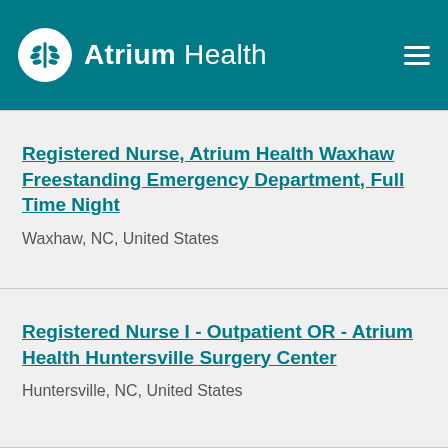Atrium Health
Registered Nurse, Atrium Health Waxhaw Freestanding Emergency Department, Full Time Night
Waxhaw, NC, United States
Registered Nurse I - Outpatient OR - Atrium Health Huntersville Surgery Center
Huntersville, NC, United States